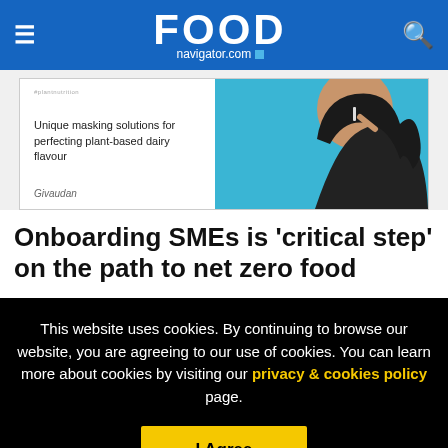FOOD navigator.com
[Figure (photo): Advertisement banner for Givaudon featuring text 'Unique masking solutions for perfecting plant-based dairy flavour' on the left and a woman eating yogurt on a teal background on the right.]
Onboarding SMEs is ‘critical step’ on the path to net zero food
This website uses cookies. By continuing to browse our website, you are agreeing to our use of cookies. You can learn more about cookies by visiting our privacy & cookies policy page.